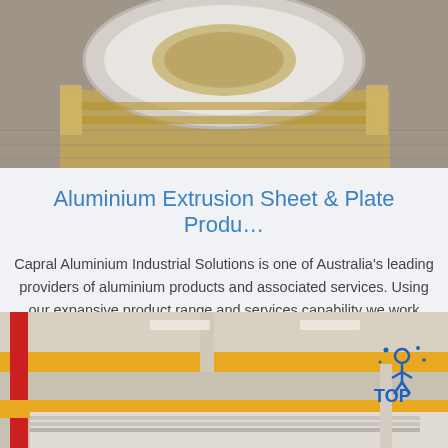[Figure (photo): Top-down view of a large aluminium roll/coil on a warehouse floor with wooden pallets, concrete surface visible]
Aluminium Extrusion Sheet & Plate Produ…
Capral Aluminium Industrial Solutions is one of Australia's leading providers of aluminium products and associated services. Using our expansive product range and services capability we work with key customers across a range of industries to deliver the best outcomes.
Get Price
[Figure (photo): Industrial warehouse interior showing aluminium sheets/plates being handled by yellow overhead cranes, with a 'TOP' watermark/logo in the upper right corner]